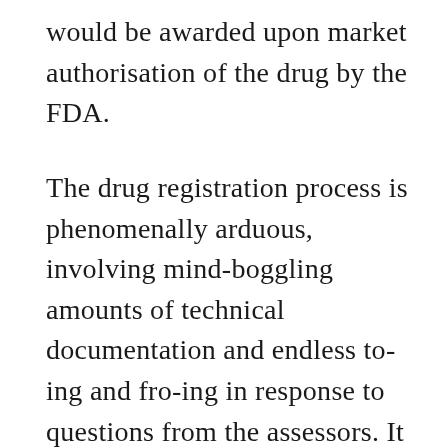would be awarded upon market authorisation of the drug by the FDA.
The drug registration process is phenomenally arduous, involving mind-boggling amounts of technical documentation and endless to-ing and fro-ing in response to questions from the assessors. It is nothing if not a gigantic coordination exercise involving a vast assemblage of experts. As Mark says: